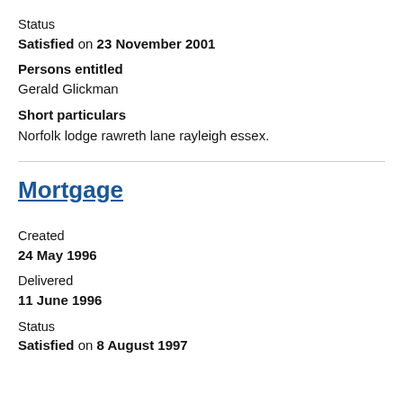Status
Satisfied on 23 November 2001
Persons entitled
Gerald Glickman
Short particulars
Norfolk lodge rawreth lane rayleigh essex.
Mortgage
Created
24 May 1996
Delivered
11 June 1996
Status
Satisfied on 8 August 1997